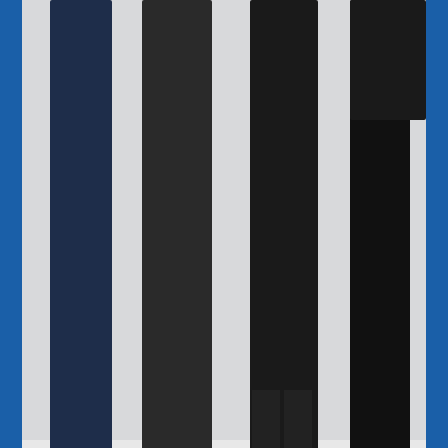[Figure (photo): Lower bodies and legs of four business professionals standing together, wearing dark suits/trousers. Shoes visible: black dress shoes, brown leather oxfords, dark sneakers, black heels. Light grey/white background.]
[Figure (logo): BeaconPoint Financial Security Limited logo. Features a stylized sun with rays above the company name. 'BeaconPoint' in large serif dark red/maroon text, 'Financial Security Limited' in smaller grey sans-serif below. Flanked by two horizontal blue lines.]